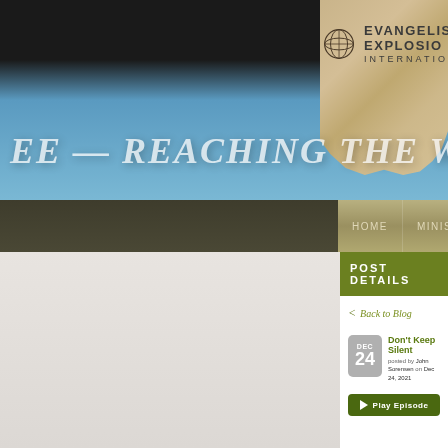[Figure (screenshot): Evangelism Explosion International website screenshot showing header with globe logo, burlap texture banner, blue gradient background, navigation bar with HOME, MINISTRIES, TRAINING items, POST DETAILS section header, Back to Blog link, and a blog post titled Don't Keep Silent posted by John Sorensen on Dec 24, 2021 with a Play Episode button]
EVANGELISM EXPLOSION INTERNATIONAL
EE — REACHING THE W
POST DETAILS
< Back to Blog
Don't Keep Silent
posted by John Sorensen on Dec 24, 2021
Play Episode